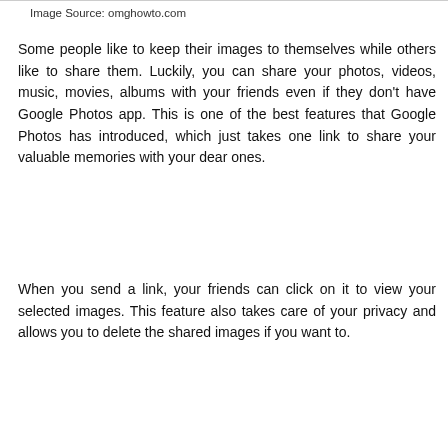Image Source: omghowto.com
Some people like to keep their images to themselves while others like to share them. Luckily, you can share your photos, videos, music, movies, albums with your friends even if they don't have Google Photos app. This is one of the best features that Google Photos has introduced, which just takes one link to share your valuable memories with your dear ones.
When you send a link, your friends can click on it to view your selected images. This feature also takes care of your privacy and allows you to delete the shared images if you want to.